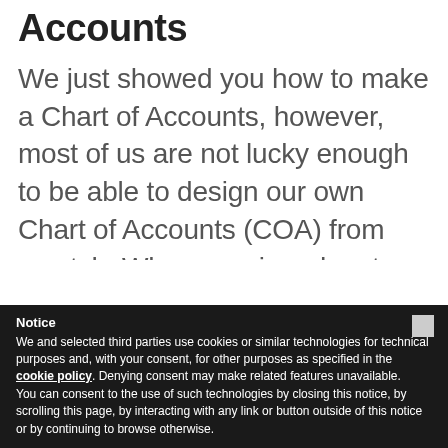Accounts
We just showed you how to make a Chart of Accounts, however, most of us are not lucky enough to be able to design our own Chart of Accounts (COA) from scratch. When we signed on to the company that we're working for that has JDE, we also inherited a
Notice
We and selected third parties use cookies or similar technologies for technical purposes and, with your consent, for other purposes as specified in the cookie policy. Denying consent may make related features unavailable.
You can consent to the use of such technologies by closing this notice, by scrolling this page, by interacting with any link or button outside of this notice or by continuing to browse otherwise.